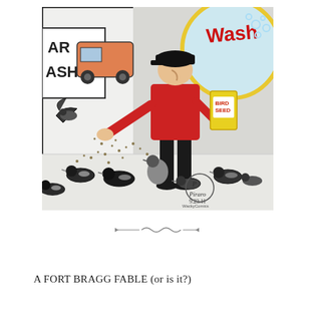[Figure (illustration): A comic strip panel showing a man in a red shirt and black cap feeding birds (pigeons) outside a car wash. He holds a bag labeled 'BIRD SEED' and scatters seed on the ground where many pigeons gather. A 'Car Wash' sign is visible in the background with bubbles. Signed 'Piraro 9.23.11' in the lower right corner.]
~~~
A FORT BRAGG FABLE (or is it?)